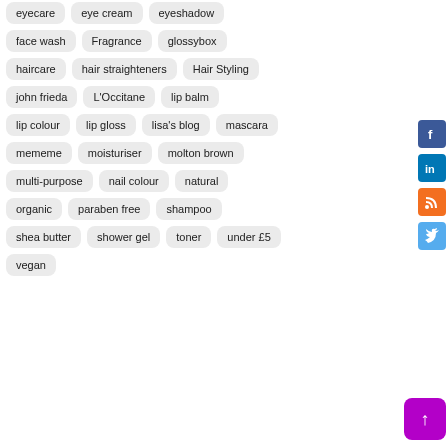eyecare
eye cream
eyeshadow
face wash
Fragrance
glossybox
haircare
hair straighteners
Hair Styling
john frieda
L'Occitane
lip balm
lip colour
lip gloss
lisa's blog
mascara
mememe
moisturiser
molton brown
multi-purpose
nail colour
natural
organic
paraben free
shampoo
shea butter
shower gel
toner
under £5
vegan